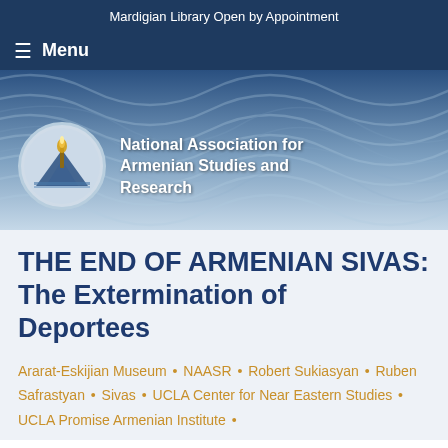Mardigian Library Open by Appointment
Menu
[Figure (logo): National Association for Armenian Studies and Research logo with circular emblem showing mountains and torch, alongside organization name text in white]
THE END OF ARMENIAN SIVAS: The Extermination of Deportees
Ararat-Eskijian Museum • NAASR • Robert Sukiasyan • Ruben Safrastyan • Sivas • UCLA Center for Near Eastern Studies • UCLA Promise Armenian Institute •